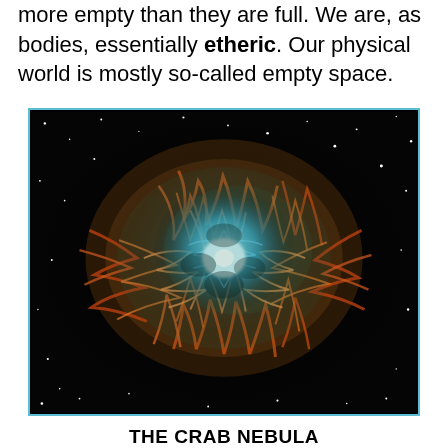more empty than they are full. We are, as bodies, essentially etheric. Our physical world is mostly so-called empty space.
[Figure (photo): Photograph of the Crab Nebula — a supernova remnant showing a bright blue-white glowing center surrounded by intricate orange, red, and golden filamentary structures against a black star-filled background.]
THE CRAB NEBULA